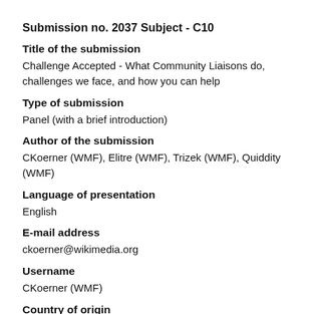Submission no. 2037 Subject - C10
Title of the submission
Challenge Accepted - What Community Liaisons do, challenges we face, and how you can help
Type of submission
Panel (with a brief introduction)
Author of the submission
CKoerner (WMF), Elitre (WMF), Trizek (WMF), Quiddity (WMF)
Language of presentation
English
E-mail address
ckoerner@wikimedia.org
Username
CKoerner (WMF)
Country of origin